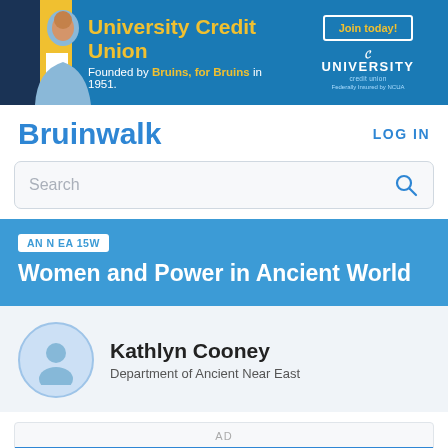[Figure (screenshot): University Credit Union advertisement banner with photo of smiling student, blue background, gold text reading 'University Credit Union, Founded by Bruins, for Bruins in 1951.' with a 'Join today!' button and UNIVERSITY credit union logo with 'Federally Insured by NCUA']
Bruinwalk
LOG IN
Search
AN N EA 15W
Women and Power in Ancient World
Kathlyn Cooney
Department of Ancient Near East
AD